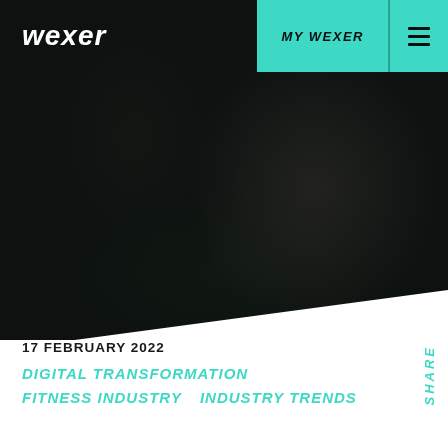wexer
MY WEXER
[Figure (photo): Dark background image of a gym interior, dimly lit with blurred equipment visible. The upper portion of the page is dominated by this dark hero image with a diagonal cut at the bottom transitioning to white.]
17 FEBRUARY 2022
DIGITAL TRANSFORMATION
FITNESS INDUSTRY    INDUSTRY TRENDS
SHARE